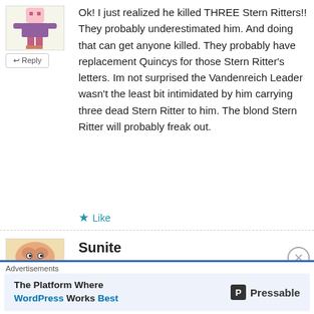[Figure (illustration): Small pixel-art character avatar with pink/purple clothing and legs]
↩ Reply
Ok! I just realized he killed THREE Stern Ritters!! They probably underestimated him. And doing that can get anyone killed. They probably have replacement Quincys for those Stern Ritter's letters. Im not surprised the Vandenreich Leader wasn't the least bit intimidated by him carrying three dead Stern Ritter to him. The blond Stern Ritter will probably freak out.
★ Like
[Figure (illustration): Cartoon brain character avatar for user Sunite]
Sunite
July 25, 2012 at 5:21 pm
Advertisements
The Platform Where WordPress Works Best — Pressable